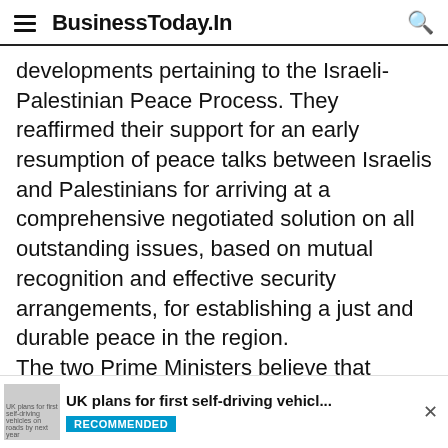BusinessToday.In
developments pertaining to the Israeli-Palestinian Peace Process. They reaffirmed their support for an early resumption of peace talks between Israelis and Palestinians for arriving at a comprehensive negotiated solution on all outstanding issues, based on mutual recognition and effective security arrangements, for establishing a just and durable peace in the region.

The two Prime Ministers believe that durable and multifaceted cooperation is beneficial for
UK plans for first self-driving vehicles on roads by next year | RECOMMENDED